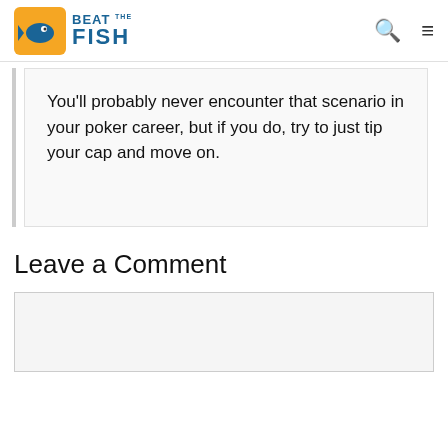Beat The Fish
You'll probably never encounter that scenario in your poker career, but if you do, try to just tip your cap and move on.
Leave a Comment